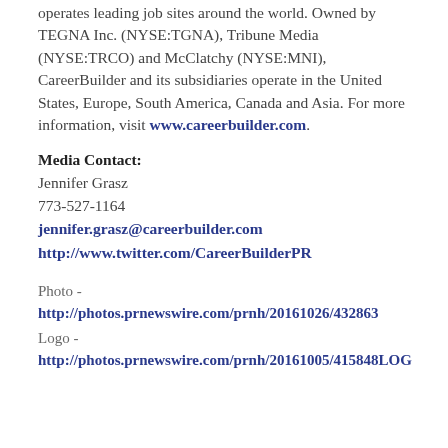operates leading job sites around the world. Owned by TEGNA Inc. (NYSE:TGNA), Tribune Media (NYSE:TRCO) and McClatchy (NYSE:MNI), CareerBuilder and its subsidiaries operate in the United States, Europe, South America, Canada and Asia. For more information, visit www.careerbuilder.com.
Media Contact:
Jennifer Grasz
773-527-1164
jennifer.grasz@careerbuilder.com
http://www.twitter.com/CareerBuilderPR
Photo - http://photos.prnewswire.com/prnh/20161026/432863
Logo - http://photos.prnewswire.com/prnh/20161005/415848LOG